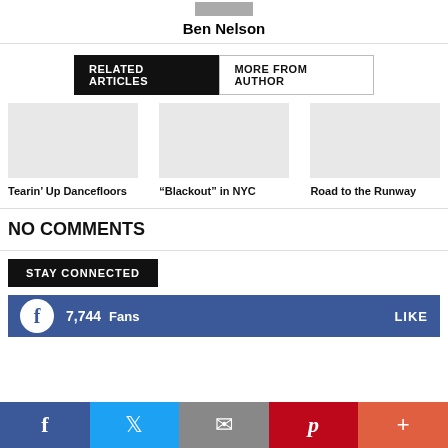[Figure (photo): Small author photo thumbnail of Ben Nelson]
Ben Nelson
RELATED ARTICLES  MORE FROM AUTHOR
[Figure (photo): Article image placeholder for Tearin Up Dancefloors]
Tearin’ Up Dancefloors
[Figure (photo): Article image placeholder for Blackout in NYC]
“Blackout” in NYC
[Figure (photo): Article image placeholder for Road to the Runway]
Road to the Runway
NO COMMENTS
STAY CONNECTED
7,744  Fans  LIKE